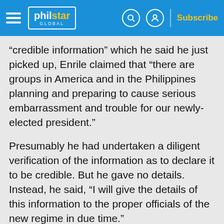philstar GLOBAL — Subscribe
“credible information” which he said he just picked up, Enrile claimed that “there are groups in America and in the Philippines planning and preparing to cause serious embarrassment and trouble for our newly-elected president.”
Presumably he had undertaken a diligent verification of the information as to declare it to be credible. But he gave no details. Instead, he said, “I will give the details of this information to the proper officials of the new regime in due time.”
This site uses cookies. By continuing to browse the site, you are agreeing to our use of cookies.